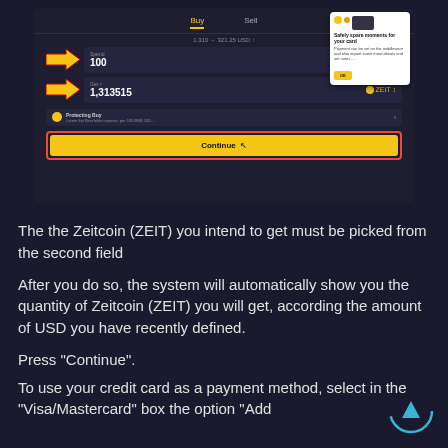[Figure (screenshot): Screenshot of a cryptocurrency exchange interface showing Buy/Sell tabs, two input fields with orange arrows pointing to them (100 and 1,313515 values), a popup about adding a card, a 'Protecting buy' section, and a Continue button highlighted with a red border.]
The the Zeitcoin (ZEIT) you intend to get must be picked from the second field
After you do so, the system will automatically show you the quantity of Zeitcoin (ZEIT) you will get, according the amount of USD you have recently defined.
Press "Continue".
To use your credit card as a payment method, select in the "Visa/Mastercard" box the option "Add